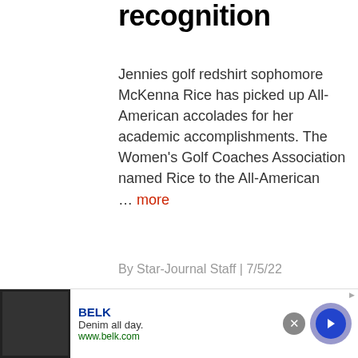recognition
Jennies golf redshirt sophomore McKenna Rice has picked up All-American accolades for her academic accomplishments. The Women's Golf Coaches Association named Rice to the All-American … more
By Star-Journal Staff | 7/5/22
[Figure (logo): Jennies logo with horseshoe and red JENNIES text]
Jennies bowling receives GLVC
BELK
Denim all day.
www.belk.com